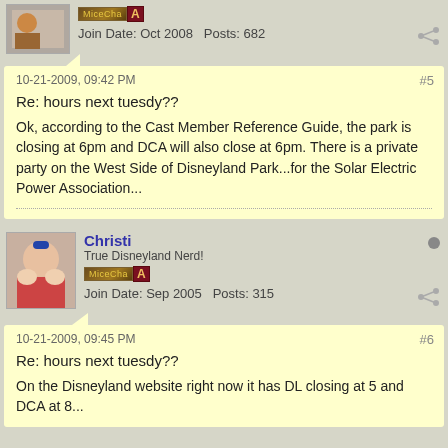Join Date: Oct 2008   Posts: 682
10-21-2009, 09:42 PM
#5
Re: hours next tuesdy??
Ok, according to the Cast Member Reference Guide, the park is closing at 6pm and DCA will also close at 6pm. There is a private party on the West Side of Disneyland Park...for the Solar Electric Power Association...
Christi
True Disneyland Nerd!
Join Date: Sep 2005   Posts: 315
10-21-2009, 09:45 PM
#6
Re: hours next tuesdy??
On the Disneyland website right now it has DL closing at 5 and DCA at 8...